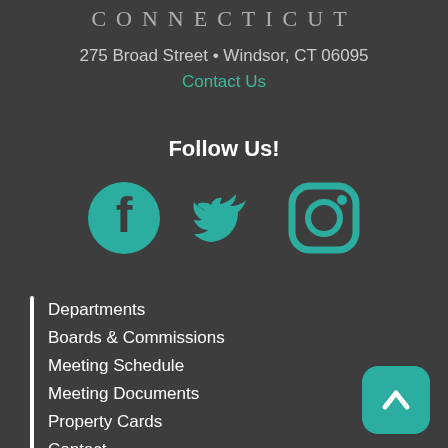CONNECTICUT
275 Broad Street • Windsor, CT 06095
Contact Us
Follow Us!
[Figure (illustration): Social media icons: Facebook, Twitter, Instagram in teal color]
Departments
Boards & Commissions
Meeting Schedule
Meeting Documents
Property Cards
Contact